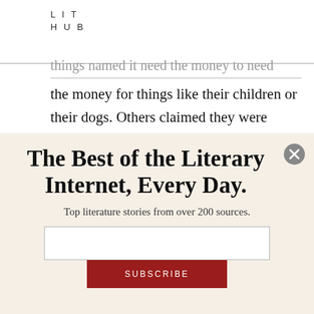LIT
HUB
things named it need the money for things like their children or their dogs. Others claimed they were saving up for an evening hamburger or a bus ride back to Nova Scotia. Their demands were so small.
The Best of the Literary Internet, Every Day.
Top literature stories from over 200 sources.